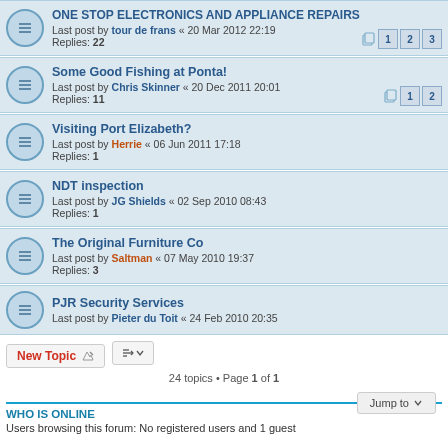Some Good Fishing at Ponta! — Last post by Chris Skinner « 20 Dec 2011 20:01 — Replies: 11
Visiting Port Elizabeth? — Last post by Herrie « 06 Jun 2011 17:18 — Replies: 1
NDT inspection — Last post by JG Shields « 02 Sep 2010 08:43 — Replies: 1
The Original Furniture Co — Last post by Saltman « 07 May 2010 19:37 — Replies: 3
PJR Security Services — Last post by Pieter du Toit « 24 Feb 2010 20:35
24 topics • Page 1 of 1
WHO IS ONLINE
Users browsing this forum: No registered users and 1 guest